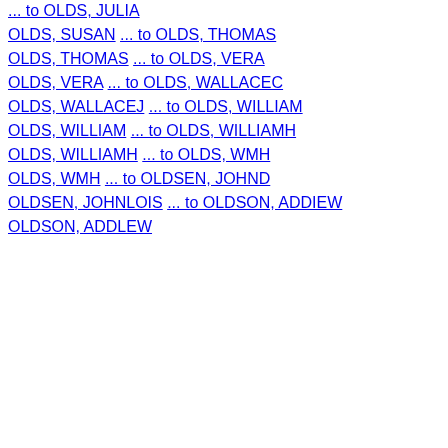... to OLDS, JULIA
OLDS, SUSAN
... to OLDS, THOMAS
OLDS, THOMAS
... to OLDS, VERA
OLDS, VERA
... to OLDS, WALLACEC
OLDS, WALLACEJ
... to OLDS, WILLIAM
OLDS, WILLIAM
... to OLDS, WILLIAMH
OLDS, WILLIAMH
... to OLDS, WMH
OLDS, WMH
... to OLDSEN, JOHND
OLDSEN, JOHNLOIS
... to OLDSON, ADDIEW
OLDSON, ADDLEW